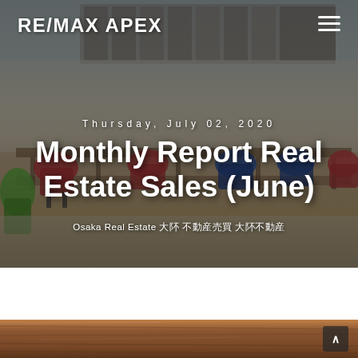[Figure (photo): Hero image of a modern office coworking space with colorful mesh chairs (red, blue, green) around long wooden desks, shelving units in the background, overlaid with a dark semi-transparent overlay]
RE/MAX APEX
Thursday, July 02, 2020
Monthly Report Real Estate Sales (June)
Osaka Real Estate 大阪 不動産売買 大阪不動産
[Figure (photo): Close-up of a wooden desk surface with wood grain texture visible, with a small scroll-to-top button in the bottom right corner]